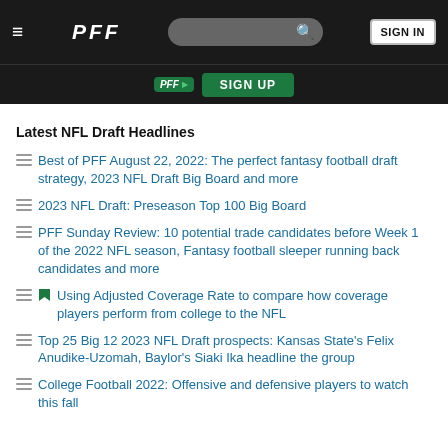PFF — SIGN IN
Latest NFL Draft Headlines
Best of PFF August 22, 2022: The perfect fantasy football draft strategy, 2023 NFL Draft Big Board and more
2023 NFL Draft: Preseason Top 100 Big Board
PFF Sunday Review: 10 potential trade candidates before Week 1 of the 2022 NFL season, Fantasy football sleeper running back candidates and more
Using Adjusted Coverage Rate to compare how coverage players perform from college to the NFL
Top 25 Big 12 2023 NFL Draft prospects: Kansas State's Felix Anudike-Uzomah, Baylor's Siaki Ika headline the group
College Football 2022: Offensive and defensive players to watch this fall